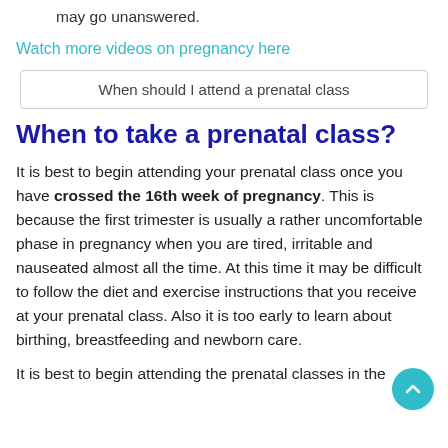may go unanswered.
Watch more videos on pregnancy here
When should I attend a prenatal class
When to take a prenatal class?
It is best to begin attending your prenatal class once you have crossed the 16th week of pregnancy. This is because the first trimester is usually a rather uncomfortable phase in pregnancy when you are tired, irritable and nauseated almost all the time. At this time it may be difficult to follow the diet and exercise instructions that you receive at your prenatal class. Also it is too early to learn about birthing, breastfeeding and newborn care.
It is best to begin attending the prenatal classes in the